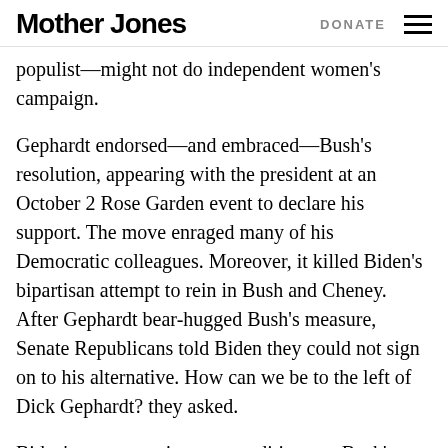Mother Jones | DONATE
populist—might not do independent women's campaign.
Gephardt endorsed—and embraced—Bush's resolution, appearing with the president at an October 2 Rose Garden event to declare his support. The move enraged many of his Democratic colleagues. Moreover, it killed Biden's bipartisan attempt to rein in Bush and Cheney. After Gephardt bear-hugged Bush's measure, Senate Republicans told Biden they could not sign on to his alternative. How can we be to the left of Dick Gephardt? they asked.
Biden's attempt to impose conditions on Bush's